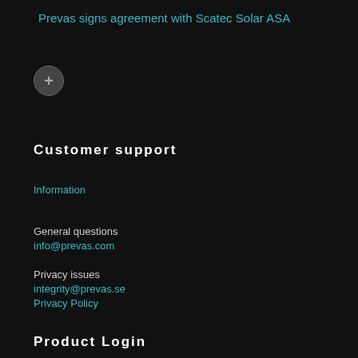Prevas signs agreement with Scatec Solar ASA
[Figure (other): Plus/expand button circle]
Customer support
Information
General questions
info@prevas.com
Privacy issues
integrity@prevas.se
Privacy Policy
Product Login
Usernamn
Password
[Figure (other): Login button with text 'login']
[Figure (other): Social media icons: LinkedIn, YouTube, Facebook, Instagram]